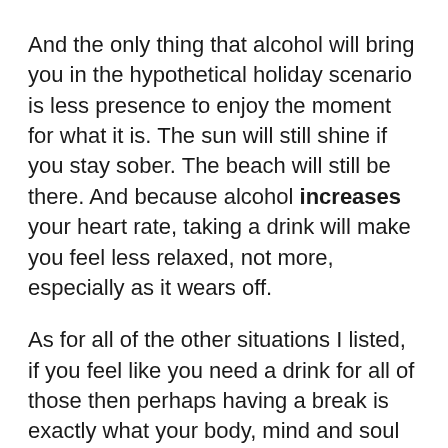And the only thing that alcohol will bring you in the hypothetical holiday scenario is less presence to enjoy the moment for what it is. The sun will still shine if you stay sober. The beach will still be there. And because alcohol increases your heart rate, taking a drink will make you feel less relaxed, not more, especially as it wears off.
As for all of the other situations I listed, if you feel like you need a drink for all of those then perhaps having a break is exactly what your body, mind and soul require at the moment.
To try to limit the amount of times that voice